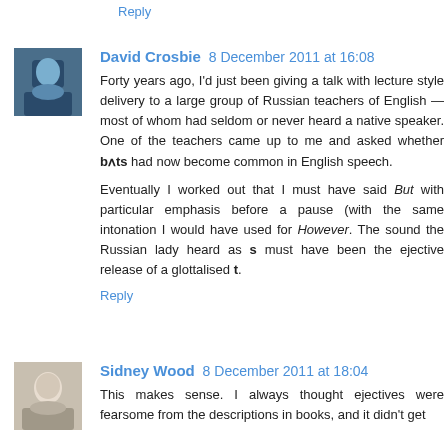Reply
[Figure (photo): Avatar photo of David Crosbie, showing a person in blue tones]
David Crosbie 8 December 2011 at 16:08
Forty years ago, I'd just been giving a talk with lecture style delivery to a large group of Russian teachers of English — most of whom had seldom or never heard a native speaker. One of the teachers came up to me and asked whether bʌts had now become common in English speech.
Eventually I worked out that I must have said But with particular emphasis before a pause (with the same intonation I would have used for However. The sound the Russian lady heard as s must have been the ejective release of a glottalised t.
Reply
[Figure (photo): Avatar photo of Sidney Wood, showing an older man with white hair]
Sidney Wood 8 December 2011 at 18:04
This makes sense. I always thought ejectives were fearsome from the descriptions in books, and it didn't get